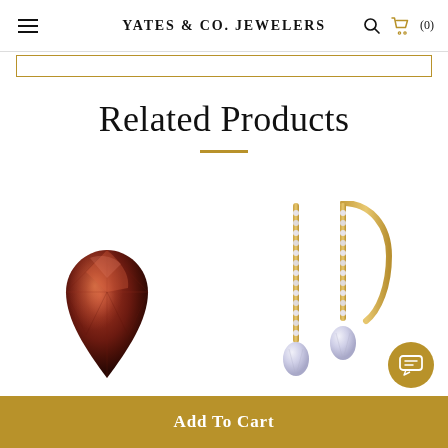Yates & Co. Jewelers
Related Products
[Figure (photo): Pear-shaped deep reddish-brown gemstone (spessartite garnet or similar), shown as a loose faceted stone on white background.]
[Figure (photo): Pair of diamond and gold drop earrings with pave-set bar and pear-shaped diamond drop, shown on white background.]
Add To Cart